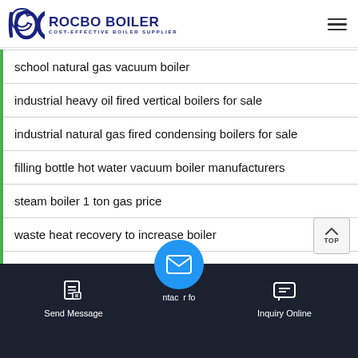ROCBO BOILER COST-EFFECTIVE BOILER SUPPLIER
school natural gas vacuum boiler
industrial heavy oil fired vertical boilers for sale
industrial natural gas fired condensing boilers for sale
filling bottle hot water vacuum boiler manufacturers
steam boiler 1 ton gas price
waste heat recovery to increase boiler
combined horizontal hot water boiler price